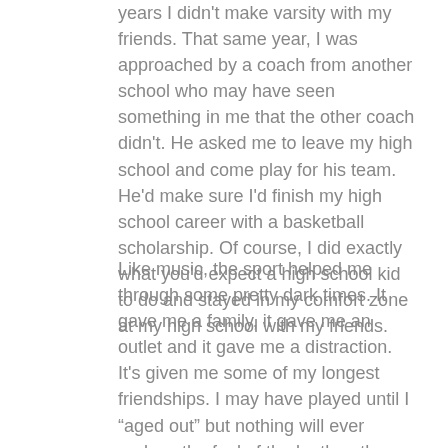years I didn't make varsity with my friends. That same year, I was approached by a coach from another school who may have seen something in me that the other coach didn't. He asked me to leave my high school and come play for his team. He'd make sure I'd finish my high school career with a basketball scholarship. Of course, I did exactly what you'd expect a high school kid to do and stayed in my comfort zone at my high school with my friends.
Like music, the sport helped me through some pretty dark times. It gave me a family, it gave me an outlet and it gave me a distraction. It's given me some of my longest friendships. I may have played until I “aged out” but nothing will ever replace the feel of the leather, the squeak on the floor or the sound of the ball brushing through the net.